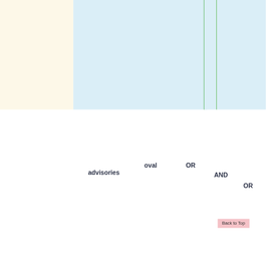advisories
oval
OR
AND
OR
Back to Top